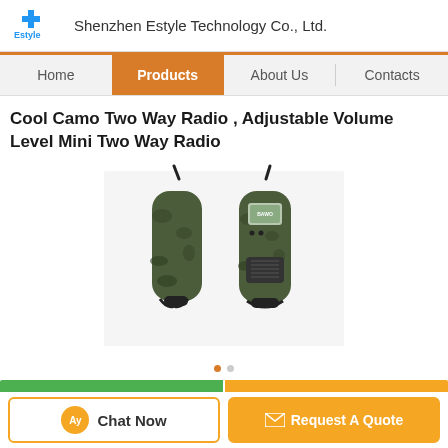Shenzhen Estyle Technology Co., Ltd.
Home | Products | About Us | Contacts
Cool Camo Two Way Radio , Adjustable Volume Level Mini Two Way Radio
[Figure (photo): Two camouflage-patterned mini two-way radios / walkie-talkies with antennas and belt clips, shown side by side on a light background. The right one shows a display screen and speaker grille.]
Chat Now | Request A Quote